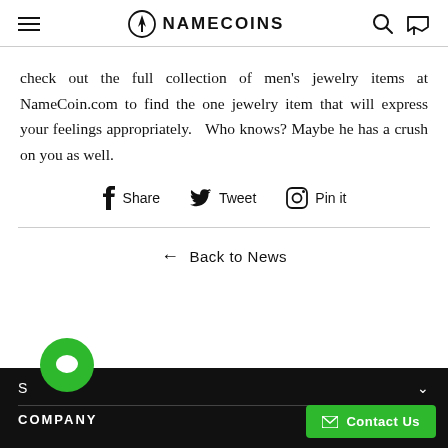NAMECOINS
check out the full collection of men’s jewelry items at NameCoin.com to find the one jewelry item that will express your feelings appropriately.   Who knows? Maybe he has a crush on you as well.
Share   Tweet   Pin it
← Back to News
S   COMPANY